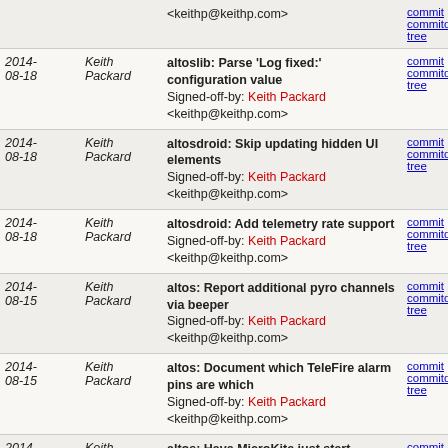| Date | Author | Message | Links |
| --- | --- | --- | --- |
|  |  | <keithp@keithp.com> | commit | commitdiff | tree |
| 2014-08-18 | Keith Packard | altoslib: Parse 'Log fixed:' configuration value
Signed-off-by: Keith Packard <keithp@keithp.com> | commit | commitdiff | tree |
| 2014-08-18 | Keith Packard | altosdroid: Skip updating hidden UI elements
Signed-off-by: Keith Packard <keithp@keithp.com> | commit | commitdiff | tree |
| 2014-08-18 | Keith Packard | altosdroid: Add telemetry rate support
Signed-off-by: Keith Packard <keithp@keithp.com> | commit | commitdiff | tree |
| 2014-08-15 | Keith Packard | altos: Report additional pyro channels via beeper
Signed-off-by: Keith Packard <keithp@keithp.com> | commit | commitdiff | tree |
| 2014-08-15 | Keith Packard | altos: Document which TeleFire alarm pins are which
Signed-off-by: Keith Packard <keithp@keithp.com> | commit | commitdiff | tree |
| 2014-08-15 | Keith Packard | altos: Have MicroKite just start recording at startup
Signed-off-by: Keith Packard <keithp@keithp.com> | commit | commitdiff | tree |
| 2014-07-17 | Keith Packard | altoslib: Handle TeleGPS files for KML export
Signed-off-by: Keith Packard | commit | commitdiff | tree |